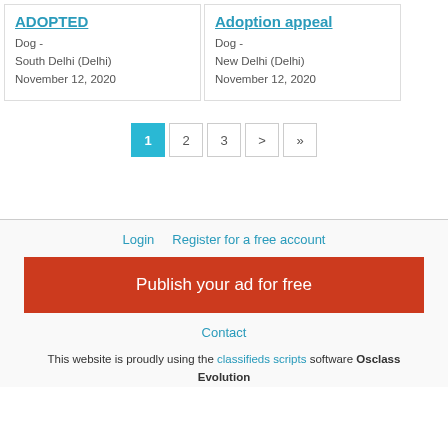ADOPTED
Dog -
South Delhi (Delhi)
November 12, 2020
Adoption appeal
Dog -
New Delhi (Delhi)
November 12, 2020
1
2
3
>
»
Login   Register for a free account
Publish your ad for free
Contact
This website is proudly using the classifieds scripts software Osclass Evolution